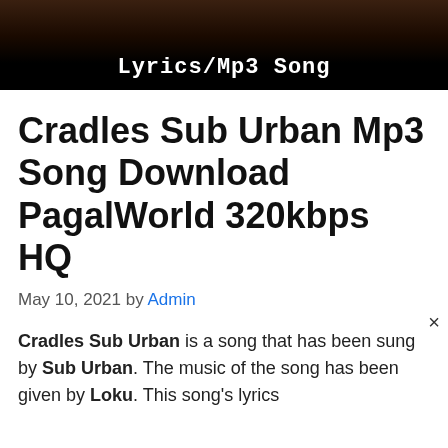[Figure (photo): Dark banner image with text 'Lyrics/Mp3 Song' in white monospace font on a black/dark brown gradient background]
Cradles Sub Urban Mp3 Song Download PagalWorld 320kbps HQ
May 10, 2021 by Admin
Cradles Sub Urban is a song that has been sung by Sub Urban. The music of the song has been given by Loku. This song's lyrics